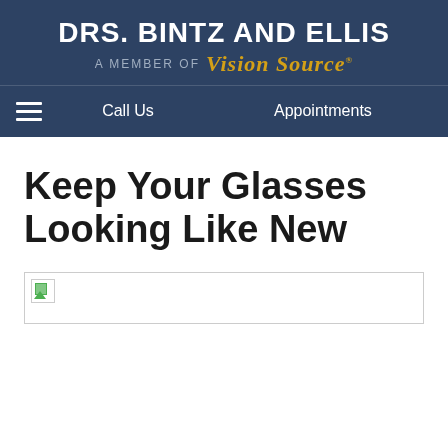DRS. BINTZ AND ELLIS — A MEMBER OF Vision Source
Call Us | Appointments
Keep Your Glasses Looking Like New
[Figure (photo): Broken/missing image placeholder with small green icon in top-left corner]